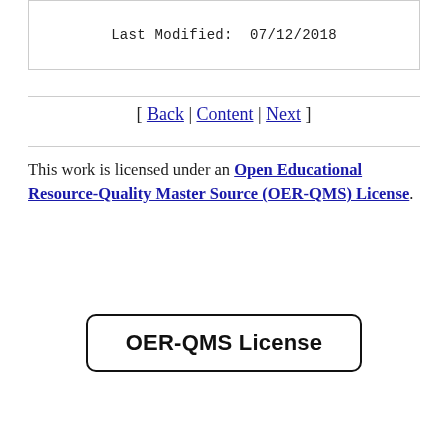Last Modified:  07/12/2018
[ Back | Content | Next ]
This work is licensed under an Open Educational Resource-Quality Master Source (OER-QMS) License.
[Figure (other): Button labeled OER-QMS License with rounded rectangle border]